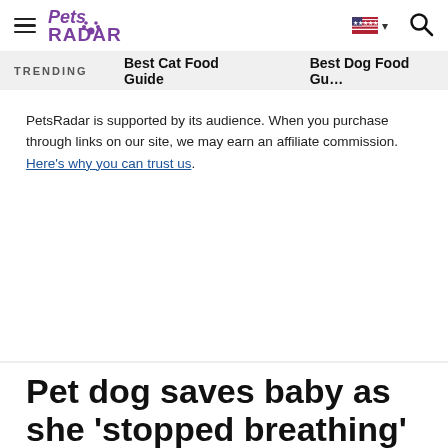PetsRadar — hamburger menu, logo, language selector, search icon
TRENDING   Best Cat Food Guide   Best Dog Food Gu...
PetsRadar is supported by its audience. When you purchase through links on our site, we may earn an affiliate commission. Here's why you can trust us.
Pet dog saves baby as she 'stopped breathing'